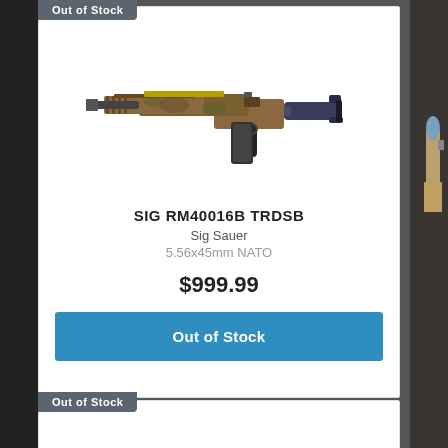Out of Stock
[Figure (photo): SIG RM40016B TRDSB rifle in desert/camo finish with blue accents]
SIG RM40016B TRDSB
Sig Sauer
5.56x45mm NATO
$999.99
Out of Stock
Out of Stock